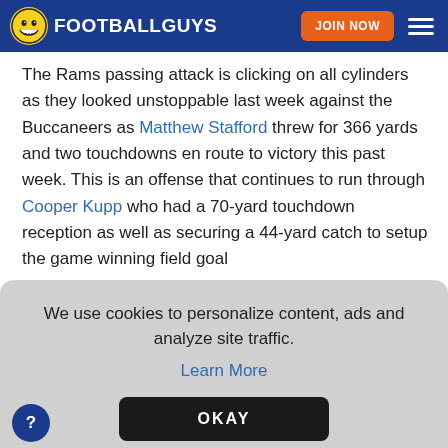FOOTBALLGUYS | JOIN NOW
The Rams passing attack is clicking on all cylinders as they looked unstoppable last week against the Buccaneers as Matthew Stafford threw for 366 yards and two touchdowns en route to victory this past week. This is an offense that continues to run through Cooper Kupp who had a 70-yard touchdown reception as well as securing a 44-yard catch to setup the game winning field goal
We use cookies to personalize content, ads and analyze site traffic.
Learn More
OKAY
Whitworth back after he missed last week.